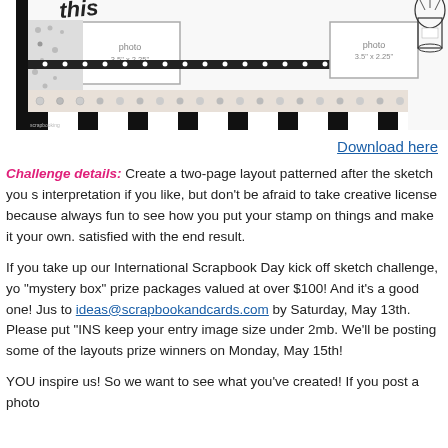[Figure (illustration): Black and white scrapbook layout sketch showing two-page spread with photo placeholders labeled '3.5 x 2.25', decorative borders including polka dot ribbon, floral patterned strip, black and white striped sections, and a mason jar illustration with flowers in top right corner. 'this' text visible in top left.]
Download here
Challenge details: Create a two-page layout patterned after the sketch you s interpretation if you like, but don't be afraid to take creative license because always fun to see how you put your stamp on things and make it your own. satisfied with the end result.
If you take up our International Scrapbook Day kick off sketch challenge, yo "mystery box" prize packages valued at over $100! And it's a good one! Jus to ideas@scrapbookandcards.com by Saturday, May 13th. Please put "INS keep your entry image size under 2mb. We'll be posting some of the layouts prize winners on Monday, May 15th!
YOU inspire us! So we want to see what you've created! If you post a photo